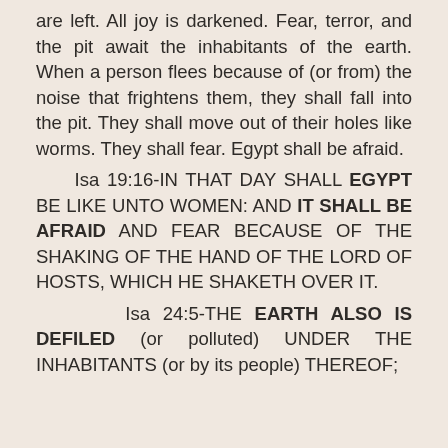are left. All joy is darkened. Fear, terror, and the pit await the inhabitants of the earth. When a person flees because of (or from) the noise that frightens them, they shall fall into the pit. They shall move out of their holes like worms. They shall fear. Egypt shall be afraid.
Isa 19:16-IN THAT DAY SHALL EGYPT BE LIKE UNTO WOMEN: AND IT SHALL BE AFRAID AND FEAR BECAUSE OF THE SHAKING OF THE HAND OF THE LORD OF HOSTS, WHICH HE SHAKETH OVER IT.
Isa 24:5-THE EARTH ALSO IS DEFILED (or polluted) UNDER THE INHABITANTS (or by its people) THEREOF;